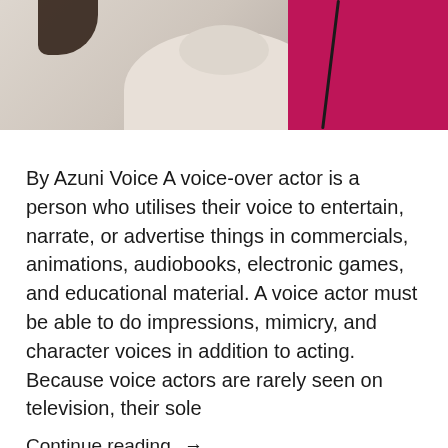[Figure (photo): Cropped photo of a person in a cream/white turtleneck against a magenta/crimson background, with black cords visible. Only the lower face/neck and upper torso area visible.]
By Azuni Voice A voice-over actor is a person who utilises their voice to entertain, narrate, or advertise things in commercials, animations, audiobooks, electronic games, and educational material. A voice actor must be able to do impressions, mimicry, and character voices in addition to acting. Because voice actors are rarely seen on television, their sole
Continue reading. →
Azuni Blogger   May 19, 2022
Arts Entertainment, Business Entrepreneurship
film industry, voice acting, Voice over